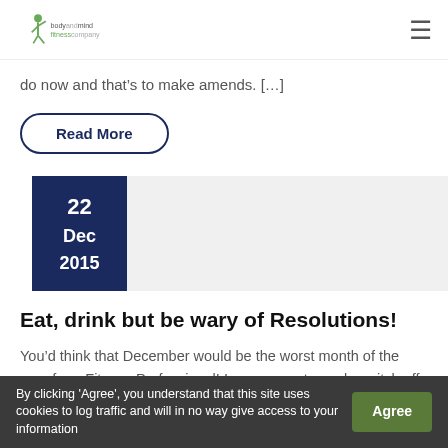body and mind fitness company
do now and that’s to make amends. […]
Read More
[Figure (other): Date block showing 22 Dec 2015 with dark navy background and light grey image placeholder area]
Eat, drink but be wary of Resolutions!
You’d think that December would be the worst month of the year for a Fitness Professional! I mean, most people switch off from fitness in December because they’re just too busy
By clicking 'Agree', you understand that this site uses cookies to log traffic and will in no way give access to your information   Agree